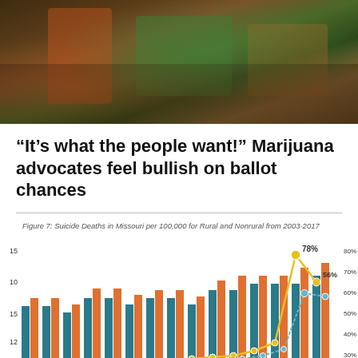[Figure (photo): Photo of marijuana advocates at a table with papers and green merchandise/shirts]
“It’s what the people want!” Marijuana advocates feel bullish on ballot chances
[Figure (bar-chart): Figure 7: Suicide Deaths in Missouri per 100,000 for Rural and Nonrural from 2003-2017]